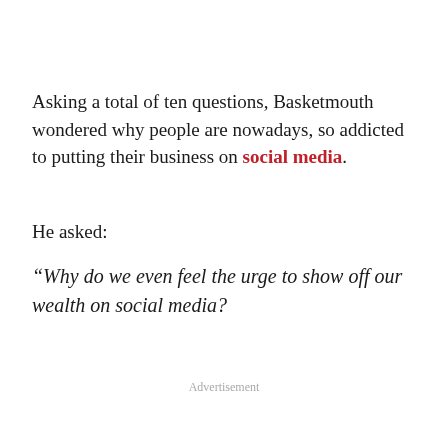Asking a total of ten questions, Basketmouth wondered why people are nowadays, so addicted to putting their business on social media.
He asked:
“Why do we even feel the urge to show off our wealth on social media?
Advertisement